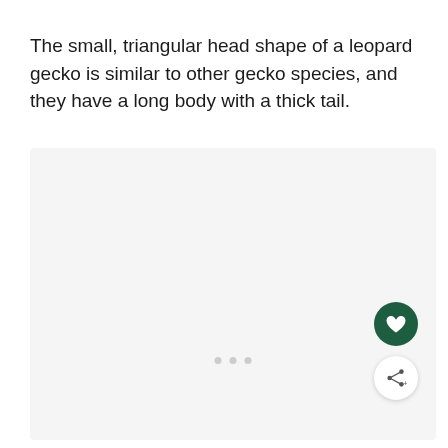The small, triangular head shape of a leopard gecko is similar to other gecko species, and they have a long body with a thick tail.
[Figure (photo): A light gray image placeholder box with three small gray dots near the bottom center, and two circular action buttons (heart/favorite in dark green and share in white) in the bottom-right corner.]